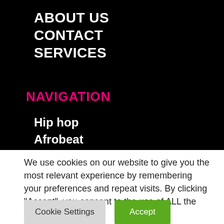ABOUT US
CONTACT
SERVICES
NAVIGATION
Hip hop
Afrobeat
We use cookies on our website to give you the most relevant experience by remembering your preferences and repeat visits. By clicking “Accept”, you consent to the use of ALL the cookies. Do not sell my personal information.